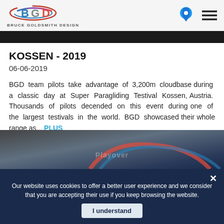Bruce Goldsmith Design
KOSSEN - 2019
06-06-2019
BGD team pilots take advantage of 3,200m cloudbase during a classic day at Super Paragliding Testival Kossen, Austria. Thousands of pilots decended on this event during one of the largest testivals in the world. BGD showcased their whole range as... PLUS
[Figure (photo): Partial view of paragliding equipment with dark and blue tones, partially obscured by cookie consent banner]
Our website uses cookies to offer a better user experience and we consider that you are accepting their use if you keep browsing the website. I understand